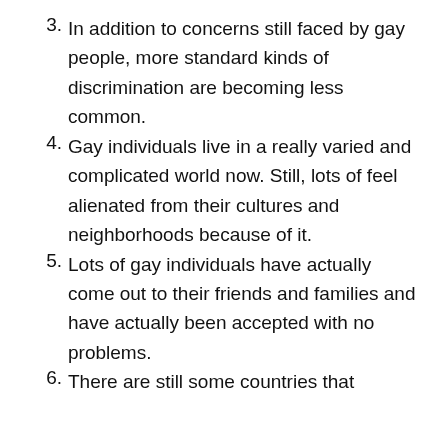3. In addition to concerns still faced by gay people, more standard kinds of discrimination are becoming less common.
4. Gay individuals live in a really varied and complicated world now. Still, lots of feel alienated from their cultures and neighborhoods because of it.
5. Lots of gay individuals have actually come out to their friends and families and have actually been accepted with no problems.
6. There are still some countries that